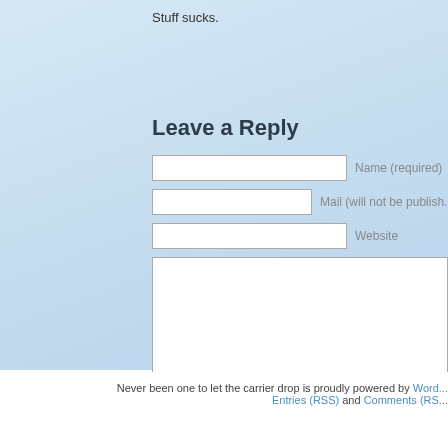Stuff sucks.
Leave a Reply
Name (required)
Mail (will not be published)
Website
Never been one to let the carrier drop is proudly powered by WordPress. Entries (RSS) and Comments (RSS).